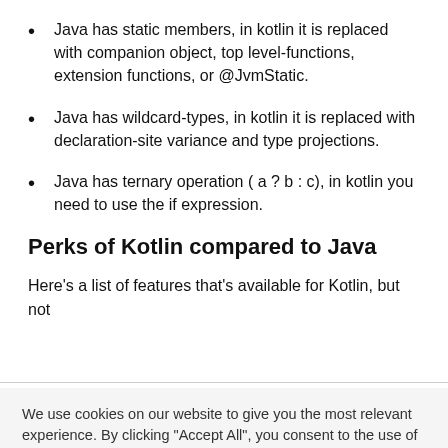Java has static members, in kotlin it is replaced with companion object, top level-functions, extension functions, or @JvmStatic.
Java has wildcard-types, in kotlin it is replaced with declaration-site variance and type projections.
Java has ternary operation ( a ? b : c), in kotlin you need to use the if expression.
Perks of Kotlin compared to Java
Here's a list of features that's available for Kotlin, but not
We use cookies on our website to give you the most relevant experience. By clicking “Accept All”, you consent to the use of ALL the cookies.